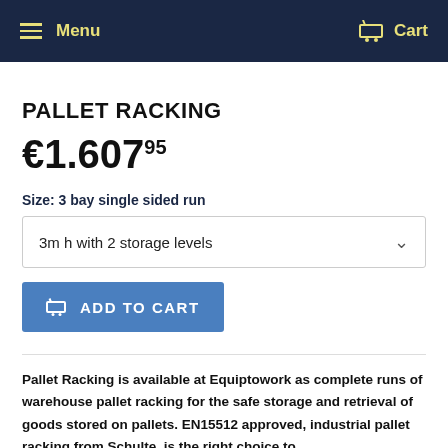Menu  Cart
PALLET RACKING
€1.607⁹⁵
Size: 3 bay single sided run
3m h with 2 storage levels
ADD TO CART
Pallet Racking is available at Equiptowork as complete runs of warehouse pallet racking for the safe storage and retrieval of goods stored on pallets. EN15512 approved, industrial pallet racking from Schulte, is the right choice to